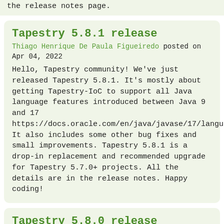the release notes page.
Tapestry 5.8.1 release
Thiago Henrique De Paula Figueiredo posted on Apr 04, 2022
Hello, Tapestry community! We've just released Tapestry 5.8.1. It's mostly about getting Tapestry-IoC to support all Java language features introduced between Java 9 and 17 https://docs.oracle.com/en/java/javase/17/language/.  It also includes some other bug fixes and small improvements. Tapestry 5.8.1 is a drop-in replacement and recommended upgrade for Tapestry 5.7.0+ projects. All the details are in the release notes. Happy coding!
Tapestry 5.8.0 release
Thiago Henrique De Paula Figueiredo posted on Jan 26, 2022
Hello, Tapestry community!Tapestry 5.8.0 has just been released. It's focused on a couple of new features: Support for writing REST endpoints. Read more about this on its